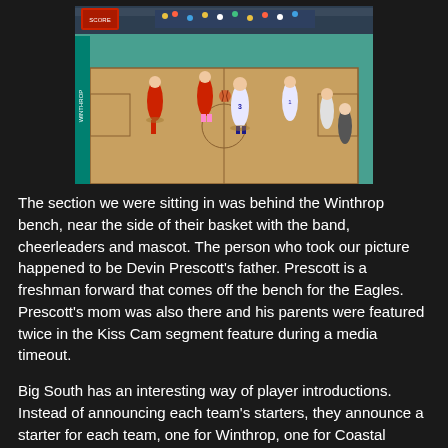[Figure (photo): Basketball game photo showing players on a basketball court with fans in the background. Red-uniformed team (Winthrop) vs white/blue-uniformed team (Coastal Carolina). Player #3 visible in white uniform.]
The section we were sitting in was behind the Winthrop bench, near the side of their basket with the band, cheerleaders and mascot.  The person who took our picture happened to be Devin Prescott's father.  Prescott is a freshman forward that comes off the bench for the Eagles.  Prescott's mom was also there and his parents were featured twice in the Kiss Cam segment feature during a media timeout.
Big South has an interesting way of player introductions.  Instead of announcing each team's starters, they announce a starter for each team, one for Winthrop, one for Coastal Carolina.  It makes it seem like a heavyweight match-up and it's pretty cool.